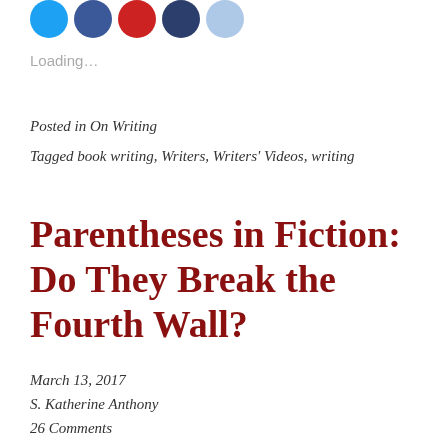[Figure (illustration): Row of five social sharing icon circles: blue (Twitter), dark blue (Facebook), red (Pinterest/Google+), dark navy, and light blue, partially cropped at top]
Loading...
Posted in On Writing
Tagged book writing, Writers, Writers' Videos, writing
Parentheses in Fiction: Do They Break the Fourth Wall?
March 13, 2017
S. Katherine Anthony
26 Comments